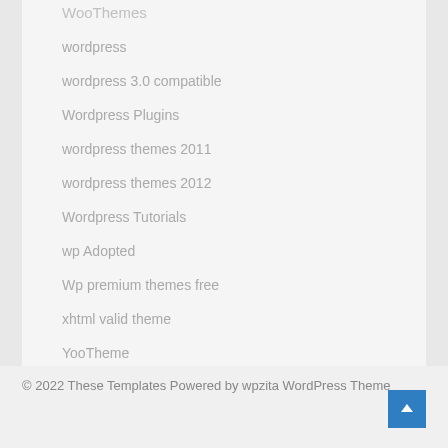WooThemes
wordpress
wordpress 3.0 compatible
Wordpress Plugins
wordpress themes 2011
wordpress themes 2012
Wordpress Tutorials
wp Adopted
Wp premium themes free
xhtml valid theme
YooTheme
© 2022 These Templates Powered by wpzita WordPress Theme